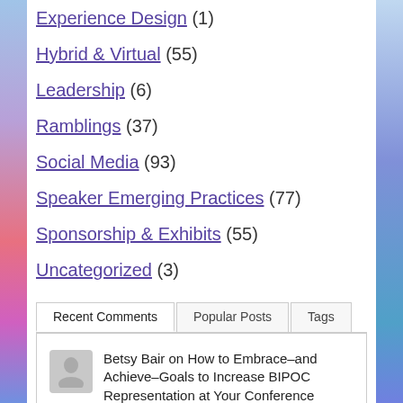Experience Design (1)
Hybrid & Virtual (55)
Leadership (6)
Ramblings (37)
Social Media (93)
Speaker Emerging Practices (77)
Sponsorship & Exhibits (55)
Uncategorized (3)
Recent Comments | Popular Posts | Tags
Betsy Bair on How to Embrace–and Achieve–Goals to Increase BIPOC Representation at Your Conference
Lori Pace on How to Embrace–and Achieve–Goals to Increase BIPOC